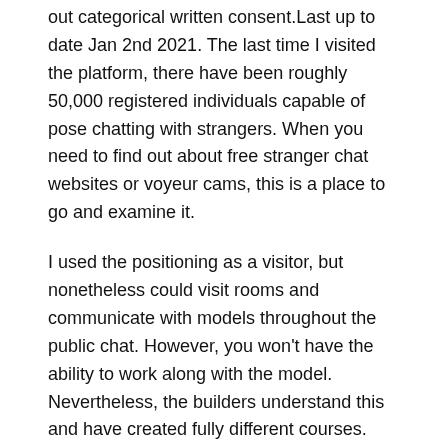out categorical written consent.Last up to date Jan 2nd 2021. The last time I visited the platform, there have been roughly 50,000 registered individuals capable of pose chatting with strangers. When you need to find out about free stranger chat websites or voyeur cams, this is a place to go and examine it.
I used the positioning as a visitor, but nonetheless could visit rooms and communicate with models throughout the public chat. However, you won't have the ability to work along with the model. Nevertheless, the builders understand this and have created fully different courses. Pay consideration to the left sidebar and search by nationality, age, hair and pores and skin shade, physique form, and so forth.
Xhamster Stay Cam Consider Filled With Necessary Information